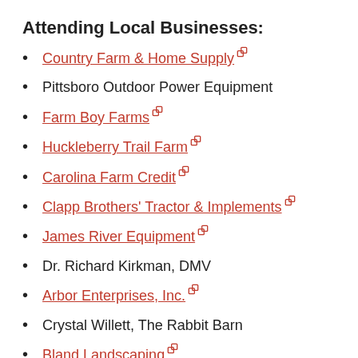Attending Local Businesses:
Country Farm & Home Supply [external link]
Pittsboro Outdoor Power Equipment
Farm Boy Farms [external link]
Huckleberry Trail Farm [external link]
Carolina Farm Credit [external link]
Clapp Brothers' Tractor & Implements [external link]
James River Equipment [external link]
Dr. Richard Kirkman, DMV
Arbor Enterprises, Inc. [external link]
Crystal Willett, The Rabbit Barn
Bland Landscaping [external link]